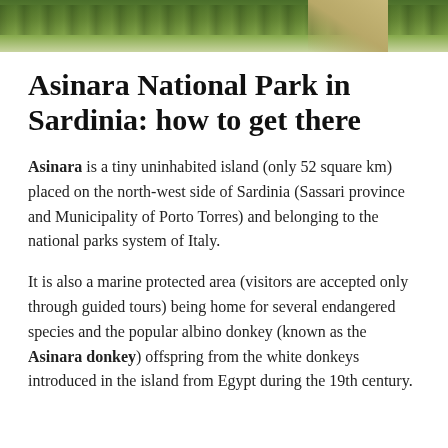[Figure (photo): Photograph of green vegetation and a dirt path on Asinara island, shown as a header banner at the top of the page.]
Asinara National Park in Sardinia: how to get there
Asinara is a tiny uninhabited island (only 52 square km) placed on the north-west side of Sardinia (Sassari province and Municipality of Porto Torres) and belonging to the national parks system of Italy.
It is also a marine protected area (visitors are accepted only through guided tours) being home for several endangered species and the popular albino donkey (known as the Asinara donkey) offspring from the white donkeys introduced in the island from Egypt during the 19th century.